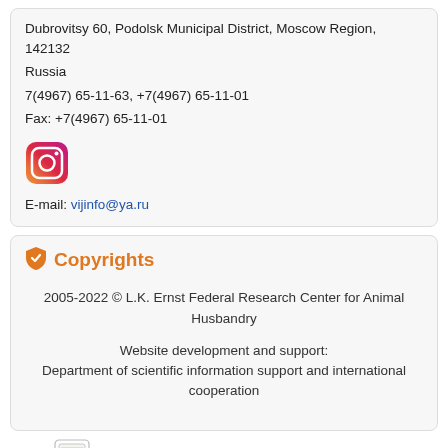Dubrovitsy 60, Podolsk Municipal District, Moscow Region, 142132 Russia
7(4967) 65-11-63, +7(4967) 65-11-01
Fax: +7(4967) 65-11-01
[Figure (logo): Instagram logo icon]
E-mail: vijinfo@ya.ru
Copyrights
2005-2022 © L.K. Ernst Federal Research Center for Animal Husbandry
Website development and support:
Department of scientific information support and international cooperation
Found a typo? Please select it and press (CTRL+Enter)